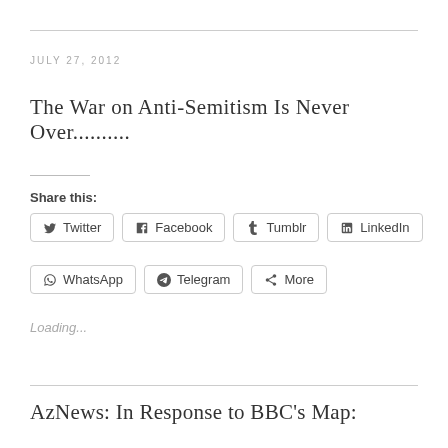JULY 27, 2012
The War on Anti-Semitism Is Never Over..........
Share this:
Twitter  Facebook  Tumblr  LinkedIn  WhatsApp  Telegram  More
Loading...
AzNews: In Response to BBC's Map: